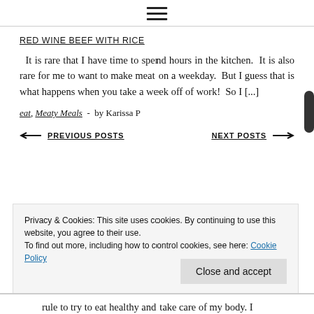≡ (hamburger menu icon)
RED WINE BEEF WITH RICE
It is rare that I have time to spend hours in the kitchen. It is also rare for me to want to make meat on a weekday. But I guess that is what happens when you take a week off of work! So I [...]
eat, Meaty Meals - by Karissa P
← PREVIOUS POSTS    NEXT POSTS →
Privacy & Cookies: This site uses cookies. By continuing to use this website, you agree to their use.
To find out more, including how to control cookies, see here: Cookie Policy
Close and accept
rule to try to eat healthy and take care of my body. I